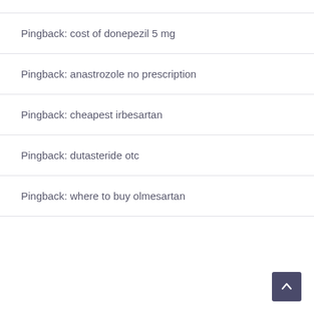Pingback: cost of donepezil 5 mg
Pingback: anastrozole no prescription
Pingback: cheapest irbesartan
Pingback: dutasteride otc
Pingback: where to buy olmesartan